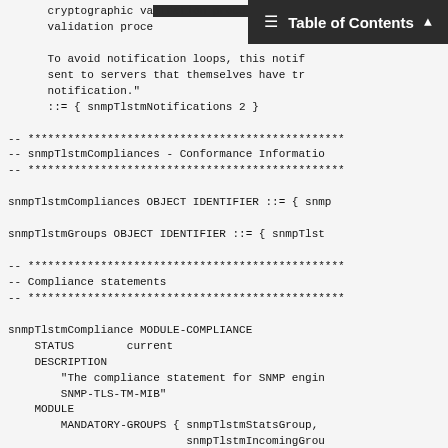Table of Contents
cryptographic va...
    validation proce...

    To avoid notification loops, this notif...
    sent to servers that themselves have tr...
    notification."
    ::= { snmpTlstmNotifications 2 }

-- *************************************************
-- snmpTlstmCompliances - Conformance Informatio...
-- *************************************************

snmpTlstmCompliances OBJECT IDENTIFIER ::= { snmp...

snmpTlstmGroups OBJECT IDENTIFIER ::= { snmpTlst...

-- *************************************************
-- Compliance statements
-- *************************************************

snmpTlstmCompliance MODULE-COMPLIANCE
    STATUS        current
    DESCRIPTION
        "The compliance statement for SNMP engin...
        SNMP-TLS-TM-MIB"
    MODULE
        MANDATORY-GROUPS { snmpTlstmStatsGroup,
                           snmpTlstmIncomingGrou...
                           snmpTlstmOutgoingGrou...
                           snmpTlstmNotificationG...